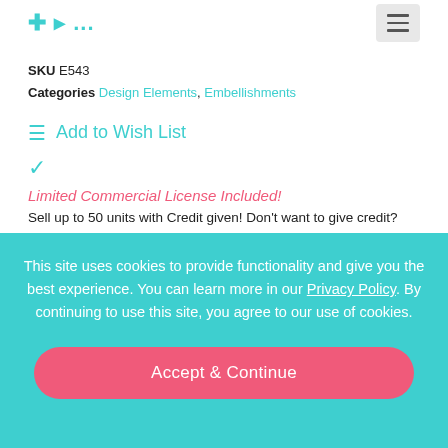SKU E543 | Categories Design Elements, Embellishments
Add to Wish List
Limited Commercial License Included! Sell up to 50 units with Credit given! Don't want to give credit? Selling over 50? Choose a License below. Read more about our Licenses.
This site uses cookies to provide functionality and give you the best experience. You can learn more in our Privacy Policy. By continuing to use this site, you agree to our use of cookies.
Accept & Continue